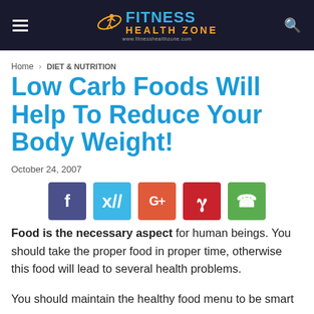FITNESS HEALTH ZONE — www.fitnesshealthzone.com
Home › DIET & NUTRITION
Low Carb Foods Will Help To Reduce Your Body Weight!
October 24, 2007
[Figure (infographic): Social sharing buttons: Facebook (purple-blue), Twitter (light blue), Google+ (orange-red), Pinterest (red), WhatsApp (green)]
Food is the necessary aspect for human beings. You should take the proper food in proper time, otherwise this food will lead to several health problems.
You should maintain the healthy food menu to be smart